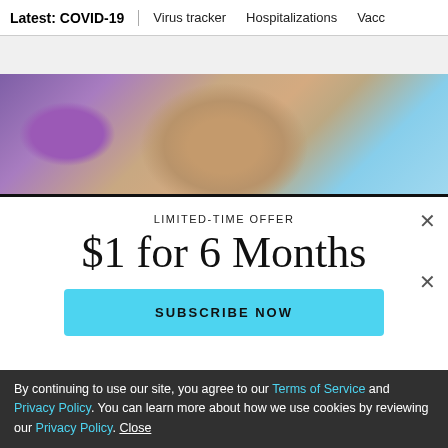Latest: COVID-19 | Virus tracker | Hospitalizations | Vacc
[Figure (photo): Person lying down receiving a facial treatment, close-up of face and head with white towel, purple background on left, blue sky on right]
LIMITED-TIME OFFER
$1 for 6 Months
SUBSCRIBE NOW
By continuing to use our site, you agree to our Terms of Service and Privacy Policy. You can learn more about how we use cookies by reviewing our Privacy Policy. Close